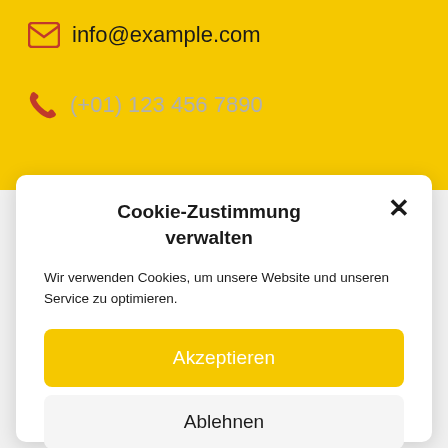info@example.com
(+01) 123 456 7890
Cookie-Zustimmung verwalten
Wir verwenden Cookies, um unsere Website und unseren Service zu optimieren.
Akzeptieren
Ablehnen
Einstellungen ansehen
Cookie-Richtlinie   Datenschutzerklärung   Impressum